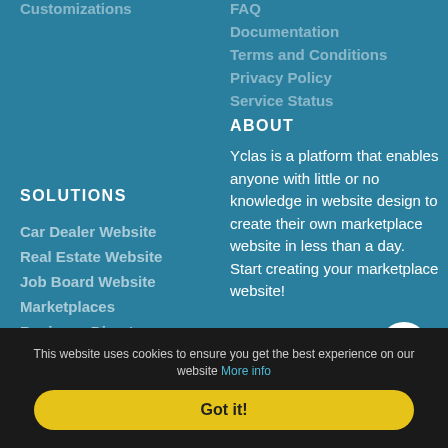Customizations
FAQ
Documentation
Terms and Conditions
Privacy Policy
Service Status
SOLUTIONS
ABOUT
Car Dealer Website
Real Estate Website
Job Board Website
Marketplaces
Business Directory
Yclas is a platform that enables anyone with little or no knowledge in website design to create their own marketplace website in less than a day. Start creating your marketplace website!
This website uses cookies to ensure you get the best experience on our website More info
Got it!